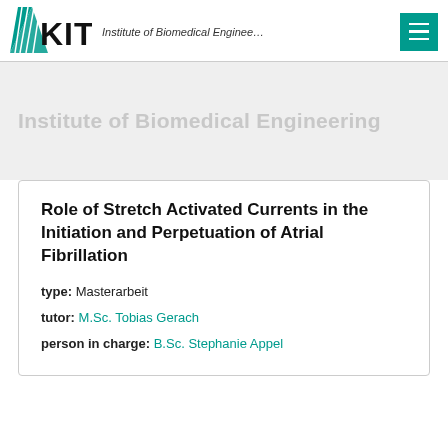Institute of Biomedical Enginee...
[Figure (logo): KIT logo with stylized fan/rays and bold KIT text, alongside Institute of Biomedical Enginee... text and a teal menu icon]
Institute of Biomedical Engineering
Role of Stretch Activated Currents in the Initiation and Perpetuation of Atrial Fibrillation
type: Masterarbeit
tutor: M.Sc. Tobias Gerach
person in charge: B.Sc. Stephanie Appel